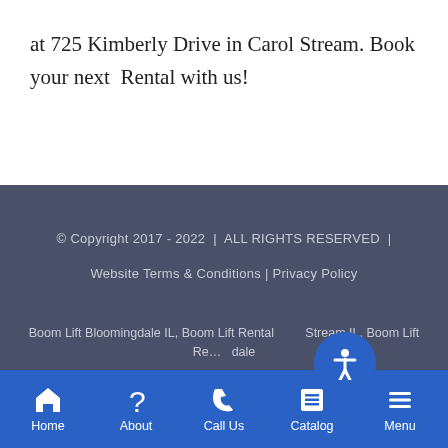at 725 Kimberly Drive in Carol Stream. Book your next  Rental with us!
© Copyright 2017 - 2022  |  ALL RIGHTS RESERVED  |  Website Terms & Conditions | Privacy Policy
Boom Lift Bloomingdale IL, Boom Lift Rental Carol Stream IL, Boom Lift Rental Chicago, Boom Lift Ro... dale
Home  About  Call Us  Catalog  Menu